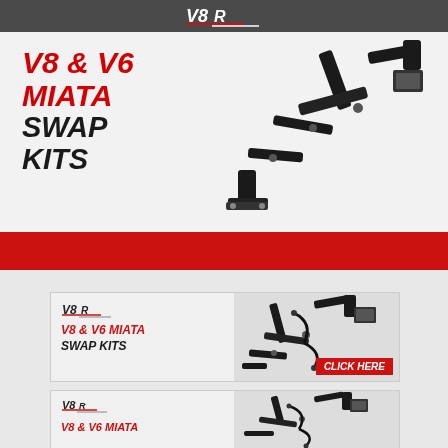[Figure (logo): V8R logo white on dark grey banner]
[Figure (illustration): Main large ad card: V8 & V6 MIATA SWAP KITS with engine bracket photo and red bar at bottom]
[Figure (illustration): Medium banner ad: V8R logo, V8 & V6 MIATA SWAP KITS text, engine bracket photo, CLICK HERE red badge]
[Figure (illustration): Small banner ad: V8R logo, V8 & V6 MIATA text, engine bracket photo]